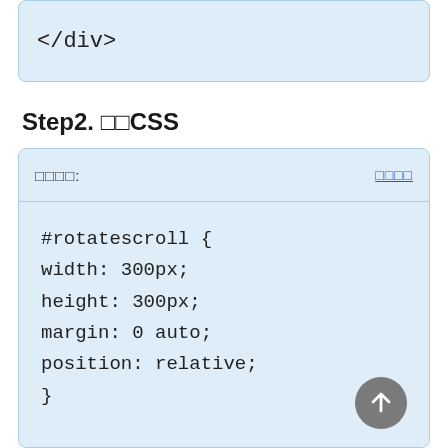</div>
Step2. □□CSS
□□□□:
□□□□
#rotatescroll {
width: 300px;
height: 300px;
margin: 0 auto;
position: relative;
}
#rotatescroll .viewport{